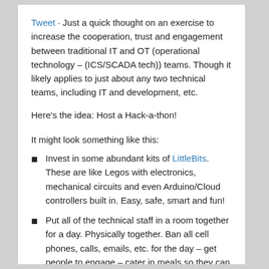Tweet · Just a quick thought on an exercise to increase the cooperation, trust and engagement between traditional IT and OT (operational technology – (ICS/SCADA tech)) teams. Though it likely applies to just about any two technical teams, including IT and development, etc.
Here's the idea: Host a Hack-a-thon!
It might look something like this:
Invest in some abundant kits of LittleBits. These are like Legos with electronics, mechanical circuits and even Arduino/Cloud controllers built in. Easy, safe, smart and fun!
Put all of the technical staff in a room together for a day. Physically together. Ban all cell phones, calls, emails, etc. for the day – get people to engage – cater in meals so they can eat together and develop rapport
Split the folks into two or more teams of equal size